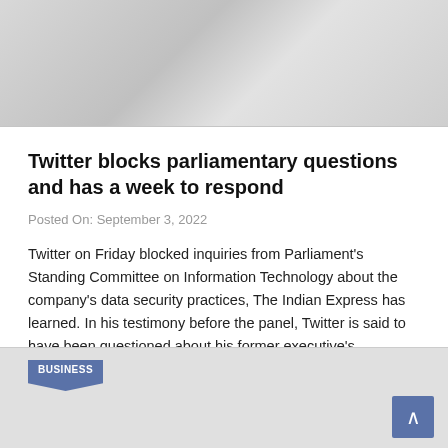[Figure (photo): Gray placeholder image at the top of the article page]
Twitter blocks parliamentary questions and has a week to respond
Posted On: September 3, 2022
Twitter on Friday blocked inquiries from Parliament's Standing Committee on Information Technology about the company's data security practices, The Indian Express has learned. In his testimony before the panel, Twitter is said to have been questioned about his former executive's
[Figure (photo): Gray placeholder image at the bottom with a BUSINESS category tag and scroll-up button]